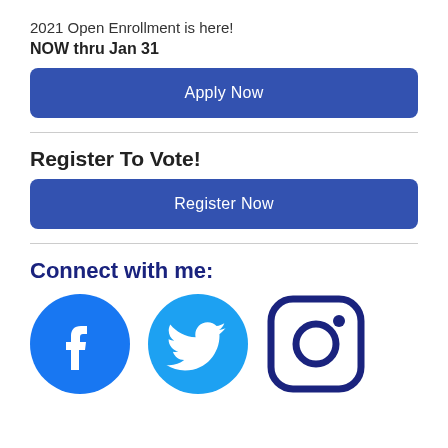2021 Open Enrollment is here!
NOW thru Jan 31
[Figure (other): Blue button labeled 'Apply Now']
Register To Vote!
[Figure (other): Blue button labeled 'Register Now']
Connect with me:
[Figure (other): Facebook logo icon (blue circle with white f)]
[Figure (other): Twitter logo icon (light blue circle with white bird)]
[Figure (other): Instagram logo icon (dark blue rounded square with camera lens)]